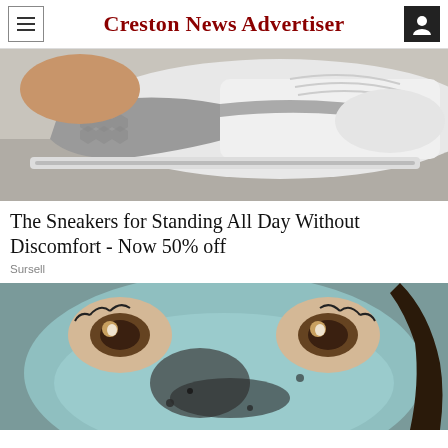Creston News Advertiser
[Figure (photo): Close-up of a white and gray knit sneaker/athletic shoe being worn, viewed from the side on a light gray surface.]
The Sneakers for Standing All Day Without Discomfort - Now 50% off
Sursell
[Figure (photo): Close-up of a person's face looking up at the camera with a blue/teal charcoal face mask applied, with dark areas around the nose and eyes visible.]